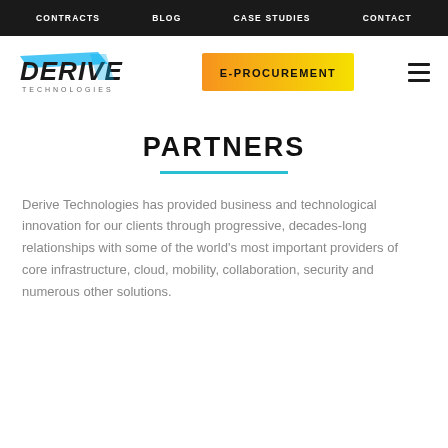CONTRACTS  BLOG  CASE STUDIES  CONTACT
[Figure (logo): Derive Technologies logo with stylized italic text and cyan/blue accents]
E-PROCUREMENT
PARTNERS
Derive Technologies has provided business and technological innovation for our clients through progressive, decades-long relationships with some of the world's most important providers of core infrastructure, cloud, mobility, collaboration, security and numerous other solutions.